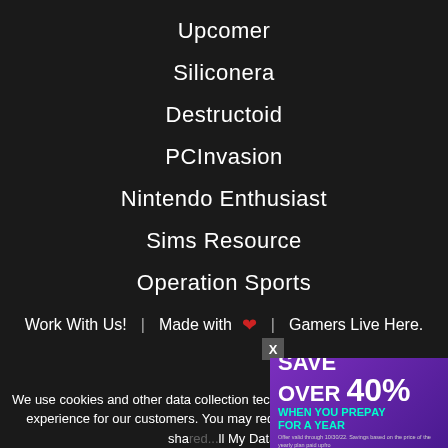Upcomer
Siliconera
Destructoid
PCInvasion
Nintendo Enthusiast
Sims Resource
Operation Sports
Work With Us!  |  Made with ❤  |  Gamers Live Here.
We use cookies and other data collection technologies to provide the best experience for our customers. You may request that your data not be shared... ll My Data.
[Figure (screenshot): Ad banner: LIMITED-TIME OFFER - SAVE OVER 40% WHEN YOU PREPAY FOR A YEAR. Offer valid through 10/30/22. Savings based on the price of the yearly plan paid upfront vs monthly plan paid over 12 months. Discount applies to first year only. Terms apply.]